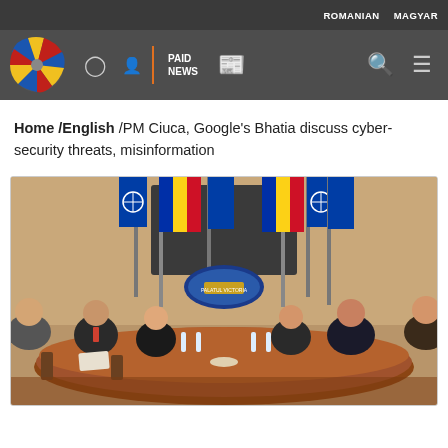ROMANIAN   MAGYAR
[Figure (logo): Agerpres news agency colorful globe logo]
PAID NEWS
Home /English /PM Ciuca, Google's Bhatia discuss cyber-security threats, misinformation
[Figure (photo): Official meeting at Palatul Victoria between PM Ciuca and Google's Bhatia, with Romanian, EU, and NATO flags in the background, delegates seated at a large wooden conference table]